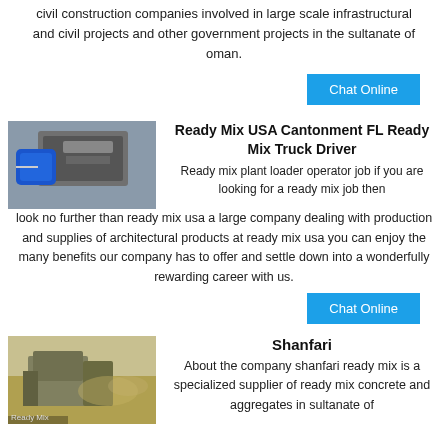civil construction companies involved in large scale infrastructural and civil projects and other government projects in the sultanate of oman.
Chat Online
[Figure (photo): Industrial machine with blue motor/pump component, grey metal housing]
Ready Mix USA Cantonment FL Ready Mix Truck Driver
Ready mix plant loader operator job if you are looking for a ready mix job then look no further than ready mix usa a large company dealing with production and supplies of architectural products at ready mix usa you can enjoy the many benefits our company has to offer and settle down into a wonderfully rewarding career with us.
Chat Online
[Figure (photo): Outdoor industrial excavator/crusher machinery at a construction or mining site with dust visible]
Shanfari
About the company shanfari ready mix is a specialized supplier of ready mix concrete and aggregates in sultanate of